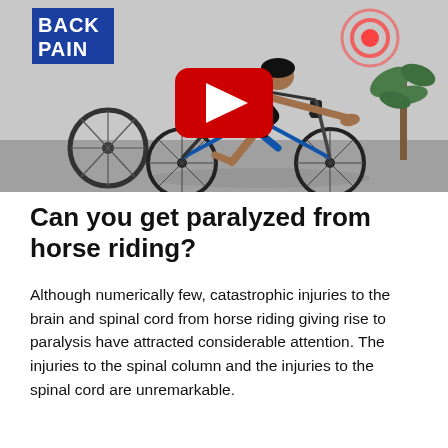[Figure (screenshot): YouTube video thumbnail showing a cyclist on a road bike indoors, with 'BACK PAIN' text overlay in blue on left, red ripple circle on upper right, and a large YouTube play button in the center.]
Can you get paralyzed from horse riding?
Although numerically few, catastrophic injuries to the brain and spinal cord from horse riding giving rise to paralysis have attracted considerable attention. The injuries to the spinal column and the injuries to the spinal cord are unremarkable.